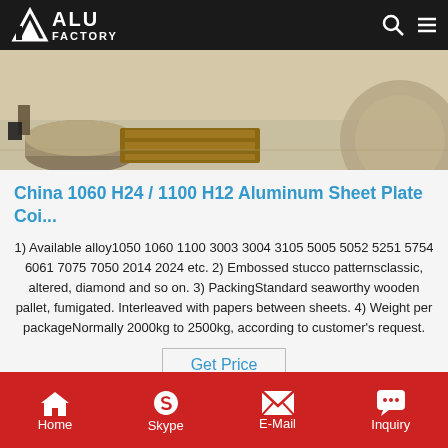ALU FACTORY
[Figure (photo): Industrial warehouse scene showing a large aluminum coil roll and wooden pallet on a concrete floor, with a person visible in the background.]
China 1060 H24 / 1100 H12 Aluminum Sheet Plate Coi...
1) Available alloy1050 1060 1100 3003 3004 3105 5005 5052 5251 5754 6061 7075 7050 2014 2024 etc. 2) Embossed stucco patternsclassic, altered, diamond and so on. 3) PackingStandard seaworthy wooden pallet, fumigated. Interleaved with papers between sheets. 4) Weight per packageNormally 2000kg to 2500kg, according to customer's request.
[Figure (photo): Partial view of a second industrial/factory image strip at the bottom of the content area.]
Home  Skype  E-Mail  Inquiry